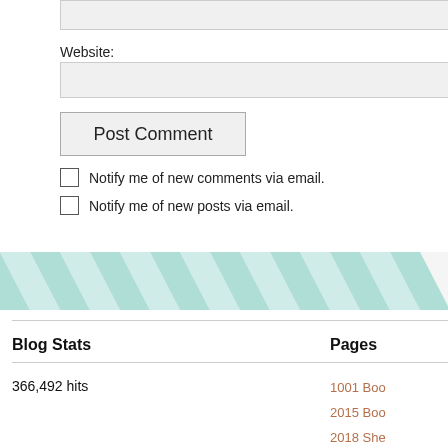Website:
Post Comment
Notify me of new comments via email.
Notify me of new posts via email.
[Figure (illustration): Teal and white chevron/zigzag pattern banner divider]
Blog Stats
366,492 hits
Pages
1001 Boo
2015 Boo
2018 She
About
Book Ma
Book Re